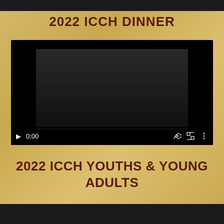2022 ICCH DINNER
[Figure (screenshot): Video player screenshot showing a dark video player with play button, timestamp 0:00, volume icon, fullscreen icon, and more options icon. A grey progress bar is visible at the bottom.]
2022 ICCH YOUTHS & YOUNG ADULTS